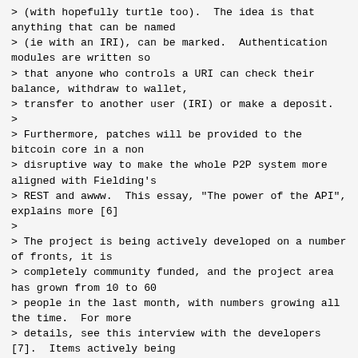> (with hopefully turtle too).  The idea is that anything that can be named
> (ie with an IRI), can be marked.  Authentication modules are written so
> that anyone who controls a URI can check their balance, withdraw to wallet,
> transfer to another user (IRI) or make a deposit.
>
> Furthermore, patches will be provided to the bitcoin core in a non
> disruptive way to make the whole P2P system more aligned with Fielding's
> REST and awww.  This essay, "The power of the API", explains more [6]
>
> The project is being actively developed on a number of fronts, it is
> completely community funded, and the project area has grown from 10 to 60
> people in the last month, with numbers growing all the time.  For more
> details, see this interview with the developers [7].  Items actively being
> developed include:
> [
> - fast key-value memory storage
> - graph storage, webdav storage flatfile storage
> - access controlled storage interfaces